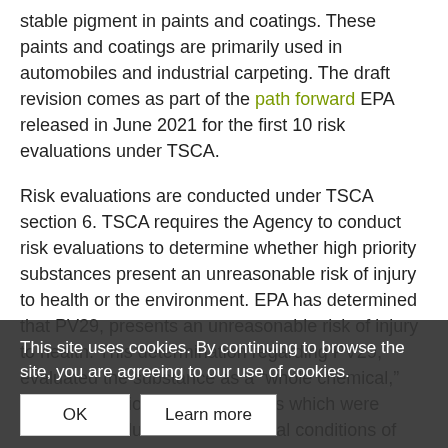stable pigment in paints and coatings. These paints and coatings are primarily used in automobiles and industrial carpeting. The draft revision comes as part of the path forward EPA released in June 2021 for the first 10 risk evaluations under TSCA.
Risk evaluations are conducted under TSCA section 6. TSCA requires the Agency to conduct risk evaluations to determine whether high priority substances present an unreasonable risk of injury to health or the environment. EPA has determined that PV29, presents an unreasonable risk of injury to health. This determination regarding PV29, evaluated the substance as a “whole chemical,” replaces previous determinations which were based on evaluations of individual conditions of use.
The draft revision risk determination for PV29 does not include workers. Instead, EPA is recommending that employers should consider the use of PPE, as potential mitigating factors, during its determination of risk management measures. Note that the January 2021 risk evaluation for PV29 found an
This site uses cookies. By continuing to browse the site, you are agreeing to our use of cookies.